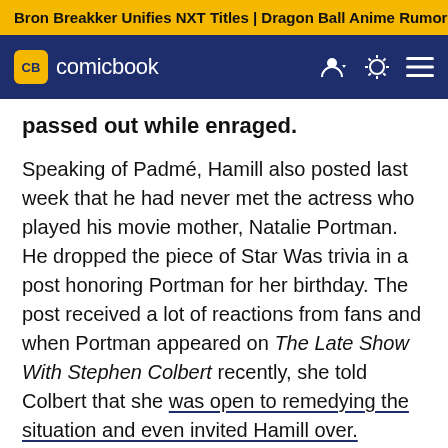Bron Breakker Unifies NXT Titles | Dragon Ball Anime Rumor
[Figure (logo): ComicBook.com logo with CB badge in yellow on dark navy navigation bar]
passed out while enraged.
Speaking of Padmé, Hamill also posted last week that he had never met the actress who played his movie mother, Natalie Portman. He dropped the piece of Star Was trivia in a post honoring Portman for her birthday. The post received a lot of reactions from fans and when Portman appeared on The Late Show With Stephen Colbert recently, she told Colbert that she was open to remedying the situation and even invited Hamill over.